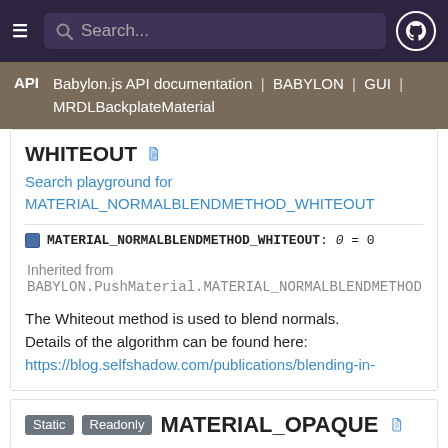Search...
API | Babylon.js API documentation | BABYLON | GUI | MRDLBackplateMaterial
WHITEOUT
Search playground for MATERIAL_NORMALBLENDMETHOD_WHITEOUT
MATERIAL_NORMALBLENDMETHOD_WHITEOUT: 0 = 0
Inherited from BABYLON.PushMaterial.MATERIAL_NORMALBLENDMETHOD
The Whiteout method is used to blend normals. Details of the algorithm can be found here: https://blog.selfshadow.com/publications/blending-in-
Static Readonly MATERIAL_OPAQUE